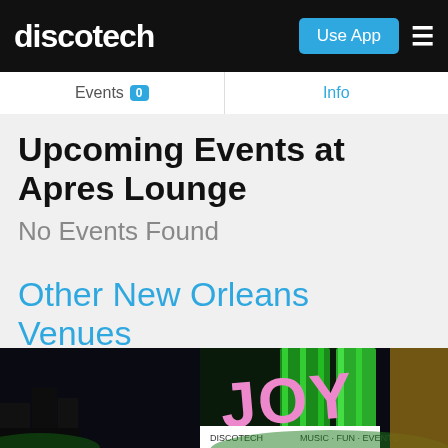discotech | Use App
Events 0    Info
Upcoming Events at Apres Lounge
No Events Found
Other New Orleans Venues
[Figure (photo): Nighttime photo of a venue with neon green and yellow signage reading 'JOY']